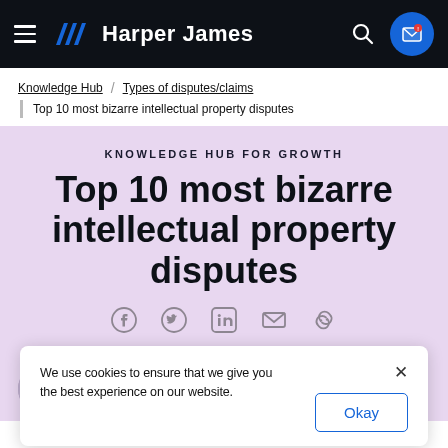Harper James
Knowledge Hub / Types of disputes/claims / Top 10 most bizarre intellectual property disputes
KNOWLEDGE HUB FOR GROWTH
Top 10 most bizarre intellectual property disputes
We use cookies to ensure that we give you the best experience on our website.
Our subject expert
Ian Carson
Head of Dispute Resolution